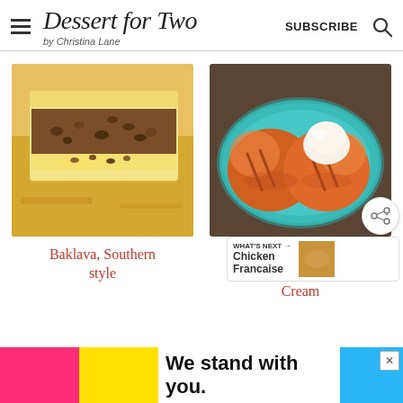Dessert for Two by Christina Lane | SUBSCRIBE
[Figure (photo): Close-up of baklava pieces on a yellow cloth, showing flaky pastry layers with chopped nuts filling]
Baklava, Southern style
[Figure (photo): Grilled peach halves on a teal plate topped with a scoop of vanilla ice cream]
Grilled Peaches with Cinnamon Cream
We stand with you.